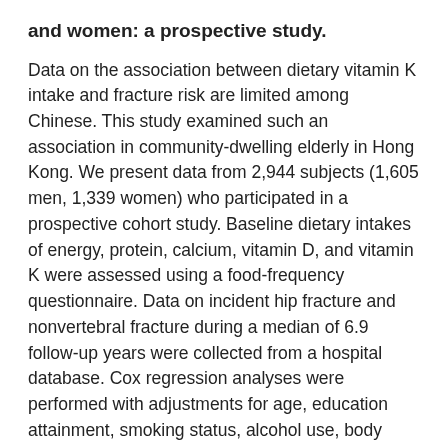and women: a prospective study.
Data on the association between dietary vitamin K intake and fracture risk are limited among Chinese. This study examined such an association in community-dwelling elderly in Hong Kong. We present data from 2,944 subjects (1,605 men, 1,339 women) who participated in a prospective cohort study. Baseline dietary intakes of energy, protein, calcium, vitamin D, and vitamin K were assessed using a food-frequency questionnaire. Data on incident hip fracture and nonvertebral fracture during a median of 6.9 follow-up years were collected from a hospital database. Cox regression analyses were performed with adjustments for age, education attainment, smoking status, alcohol use, body mass index, hip bone mineral density, physical activity, use of calcium supplement, and energy-adjusted nutrient intakes. There were 29 (1.8 %) men and 19 (1.4 %) women with incident hip fractures and 97 (6.0 %) men and 88 (6.6 %) women with nonvertebral fractures. The median (interquartile range) of dietary vitamin K intake was 244.9 (155.7–333.9) and